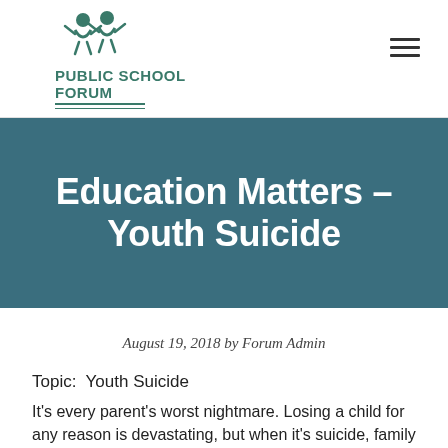PUBLIC SCHOOL FORUM
Education Matters – Youth Suicide
August 19, 2018 by Forum Admin
Topic:  Youth Suicide
It's every parent's worst nightmare. Losing a child for any reason is devastating, but when it's suicide, family and friends are not only grieving the